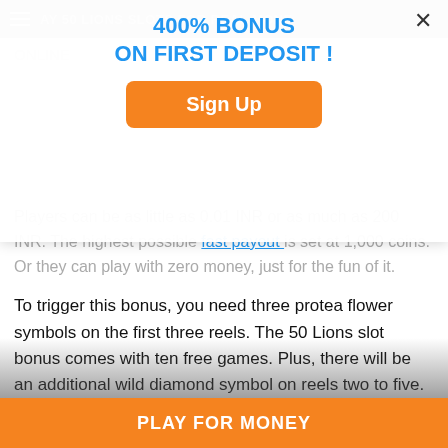[Figure (screenshot): Mobile webpage screenshot showing a casino game article with a popup overlay advertising '400% BONUS ON FIRST DEPOSIT!' with a Sign Up button, and a bottom bar with 'PLAY FOR MONEY' button. Background text discusses the 50 Lions slot game.]
400% BONUS
ON FIRST DEPOSIT !
Sign Up
Players can be as little as 0.01 INR or as much as 200 INR. The highest possible fast payout is set at 1,000 coins. Or they can play with zero money, just for the fun of it.
To trigger this bonus, you need three protea flower symbols on the first three reels. The 50 Lions slot bonus comes with ten free games. Plus, there will be an additional wild diamond symbol on reels two to five. That will make a “stacked” effect that will generate multiples line wins. By the end of the bonus feature, there will be forty wilds attached to the reels.
The only thing better than that is to re-trigger this feature. As a result, five additional free games are awarded. The only downside is that you can’t win any notice.
PLAY FOR MONEY